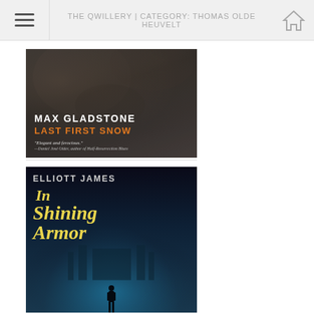THE QWILLERY | CATEGORY: THOMAS OLDE HEUVELT
[Figure (photo): Book cover: 'Last First Snow' by Max Gladstone. Dark stone/gargoyle background with author name in white uppercase, title in orange uppercase, and a quote 'Elegant and ferocious.' by Daniel José Older.]
[Figure (photo): Book cover: 'In Shining Armor' by Elliott James. Dark blue atmospheric background with glowing teal city/castle in background, silhouette of figure in foreground. Author name in light gray uppercase, title in large yellow italic serif font.]